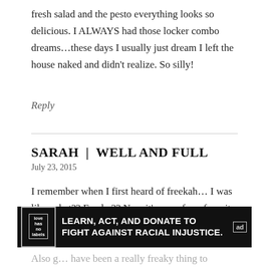fresh salad and the pesto everything looks so delicious. I ALWAYS had those locker combo dreams…these days I usually just dream I left the house naked and didn't realize. So silly!
Reply
SARAH  |  WELL AND FULL
July 23, 2015
I remember when I first heard of freekah… I was like, what?? Freaky?? Now it's one of my favorite grains!! I love how you've served it here with pesto and seasonal vegetables :)
Also g… have been a really freaky thing to happen (omg I swear I did no
[Figure (other): Advertisement banner: 'LEARN, ACT, AND DONATE TO FIGHT AGAINST RACIAL INJUSTICE.' with a logo on the left and an 'ad' badge on the right.]